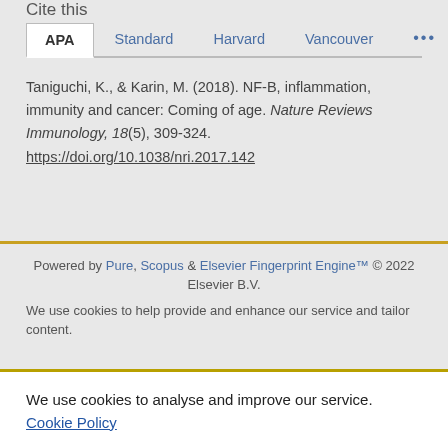Cite this
APA  Standard  Harvard  Vancouver  ...
Taniguchi, K., & Karin, M. (2018). NF-B, inflammation, immunity and cancer: Coming of age. Nature Reviews Immunology, 18(5), 309-324. https://doi.org/10.1038/nri.2017.142
Powered by Pure, Scopus & Elsevier Fingerprint Engine™ © 2022 Elsevier B.V.
We use cookies to help provide and enhance our service and tailor content.
We use cookies to analyse and improve our service. Cookie Policy